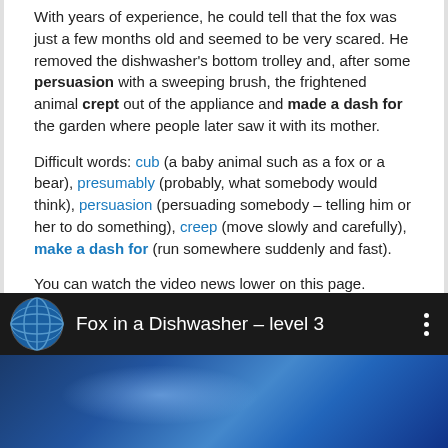With years of experience, he could tell that the fox was just a few months old and seemed to be very scared. He removed the dishwasher's bottom trolley and, after some persuasion with a sweeping brush, the frightened animal crept out of the appliance and made a dash for the garden where people later saw it with its mother.
Difficult words: cub (a baby animal such as a fox or a bear), presumably (probably, what somebody would think), persuasion (persuading somebody – telling him or her to do something), creep (move slowly and carefully), make a dash for (run somewhere suddenly and fast).
You can watch the video news lower on this page.
[Figure (screenshot): Video player screenshot showing 'Fox in a Dishwasher – level 3' with globe icon and blue video thumbnail]